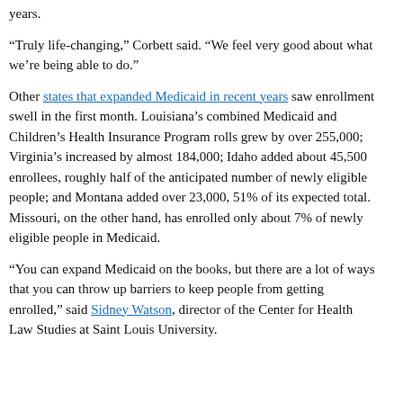years.
“Truly life-changing,” Corbett said. “We feel very good about what we’re being able to do.”
Other states that expanded Medicaid in recent years saw enrollment swell in the first month. Louisiana’s combined Medicaid and Children’s Health Insurance Program rolls grew by over 255,000; Virginia’s increased by almost 184,000; Idaho added about 45,500 enrollees, roughly half of the anticipated number of newly eligible people; and Montana added over 23,000, 51% of its expected total. Missouri, on the other hand, has enrolled only about 7% of newly eligible people in Medicaid.
“You can expand Medicaid on the books, but there are a lot of ways that you can throw up barriers to keep people from getting enrolled,” said Sidney Watson, director of the Center for Health Law Studies at Saint Louis University.